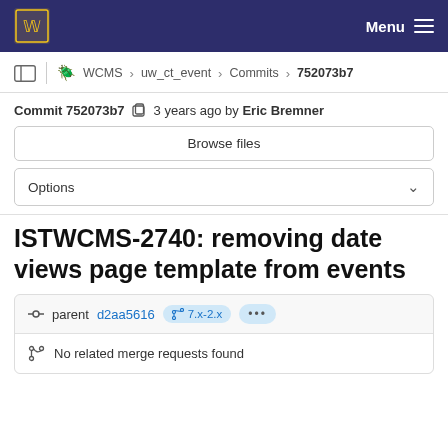Menu
WCMS > uw_ct_event > Commits > 752073b7
Commit 752073b7  3 years ago by Eric Bremner
Browse files
Options
ISTWCMS-2740: removing date views page template from events
parent d2aa5616  7.x-2.x  ...
No related merge requests found